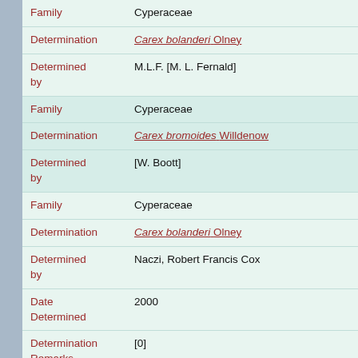| Field | Value |
| --- | --- |
| Family | Cyperaceae |
| Determination | Carex bolanderi Olney |
| Determined by | M.L.F. [M. L. Fernald] |
| Family | Cyperaceae |
| Determination | Carex bromoides Willdenow |
| Determined by | [W. Boott] |
| Family | Cyperaceae |
| Determination | Carex bolanderi Olney |
| Determined by | Naczi, Robert Francis Cox |
| Date Determined | 2000 |
| Determination Remarks | [0] |
| Annotation Text | subsp. inferminervia Naczi [ined.] |
| Family | Cyperaceae |
| Determination | Carex infirminervia Naczi |
| Determined by | Zika, Peter Francis |